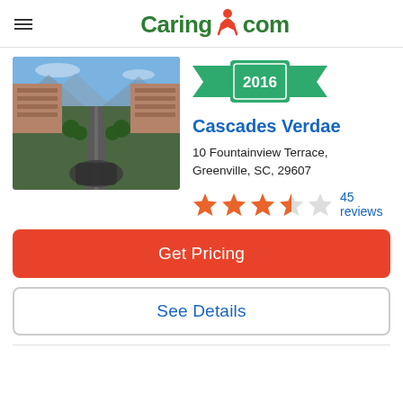Caring.com
[Figure (photo): Aerial view of Cascades Verdae senior living community with buildings, roads, and green lawn]
[Figure (infographic): 2016 award banner ribbon in green]
Cascades Verdae
10 Fountainview Terrace, Greenville, SC, 29607
4.5 stars — 45 reviews
Get Pricing
See Details